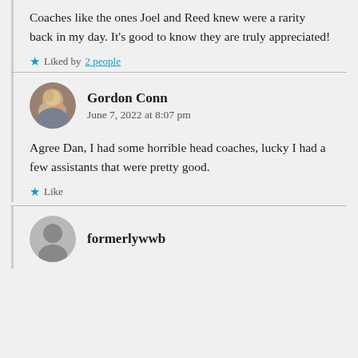Coaches like the ones Joel and Reed knew were a rarity back in my day. It's good to know they are truly appreciated!
★ Liked by 2 people
Gordon Conn
June 7, 2022 at 8:07 pm
Agree Dan, I had some horrible head coaches, lucky I had a few assistants that were pretty good.
★ Like
formerlywwb